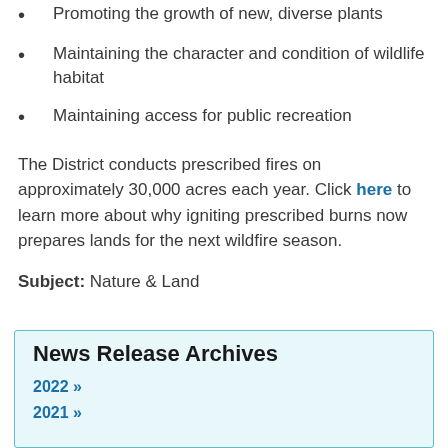Promoting the growth of new, diverse plants
Maintaining the character and condition of wildlife habitat
Maintaining access for public recreation
The District conducts prescribed fires on approximately 30,000 acres each year. Click here to learn more about why igniting prescribed burns now prepares lands for the next wildfire season.
Subject:  Nature & Land
News Release Archives
2022 »
2021 »